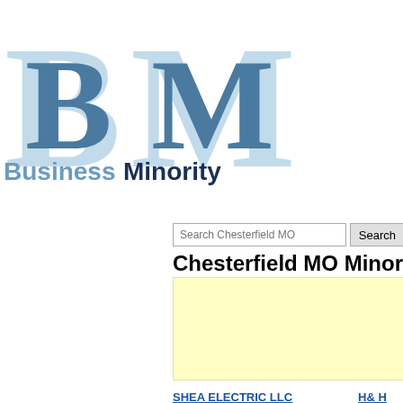[Figure (logo): BusinessMinority logo with large stylized BM letters in blue/light blue, with text 'BusinessMinority' and tagline 'Non-Profit, Minority & Women-Owned Businesses']
Search Chesterfield MO [search input] Search
Chesterfield MO Minority Bus
[Figure (other): Yellow advertisement box placeholder]
SHEA ELECTRIC LLC
1547 Woodroyal W Dr
Chesterfield, MO 63017
Phone: 314-497-9648
H& H
1114
Ches
Phon